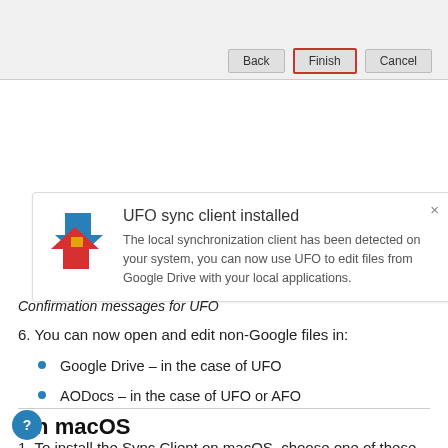[Figure (screenshot): Top portion of a dialog/installer window showing Back, Finish (highlighted with red border), and Cancel buttons on a gray toolbar]
[Figure (screenshot): Notification panel showing UFO sync client installed with arrows logo, title 'UFO sync client installed', body text about local synchronization client, and a close X button]
Confirmation messages for UFO
6. You can now open and edit non-Google files in:
Google Drive – in the case of UFO
AODocs – in the case of UFO or AFO
On macOS
1. To install the Sync Client on macOS, choose one of these options: